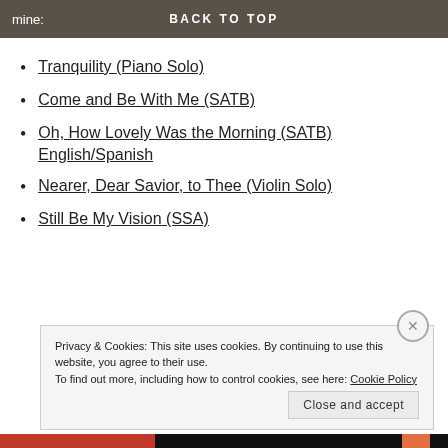mine: BACK TO TOP
Tranquility (Piano Solo)
Come and Be With Me (SATB)
Oh, How Lovely Was the Morning (SATB) English/Spanish
Nearer, Dear Savior, to Thee (Violin Solo)
Still Be My Vision (SSA)
Privacy & Cookies: This site uses cookies. By continuing to use this website, you agree to their use. To find out more, including how to control cookies, see here: Cookie Policy
Close and accept